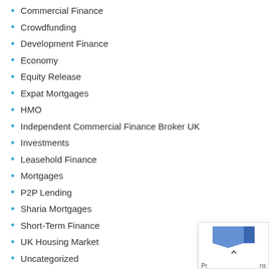Commercial Finance
Crowdfunding
Development Finance
Economy
Equity Release
Expat Mortgages
HMO
Independent Commercial Finance Broker UK
Investments
Leasehold Finance
Mortgages
P2P Lending
Sharia Mortgages
Short-Term Finance
UK Housing Market
Uncategorized
Wealth